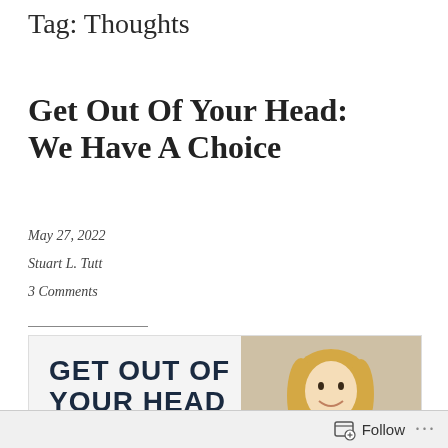Tag: Thoughts
Get Out Of Your Head: We Have A Choice
May 27, 2022
Stuart L. Tutt
3 Comments
[Figure (photo): Blog post banner image with bold text 'GET OUT OF YOUR HEAD' on the left side in dark navy, colorful flower decorations at the bottom, and a smiling blonde woman on the right side against an outdoor background.]
Follow ...